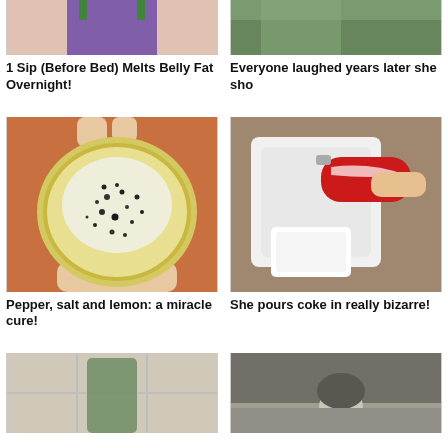[Figure (photo): Partial photo of person in purple bikini bottom, cropped at top of page, left column]
1 Sip (Before Bed) Melts Belly Fat Overnight!
[Figure (photo): Partial photo, right column top, cropped]
Everyone laughed years later she sho
[Figure (photo): Hand holding a halved lemon topped with salt and black pepper]
Pepper, salt and lemon: a miracle cure!
[Figure (photo): Hand pouring Coca-Cola can into a white container/toilet]
She pours coke in really bizarre!
[Figure (photo): Bottom partial image, left column, tiled bathroom scene]
[Figure (photo): Bottom partial image, right column, black and white photo of child]